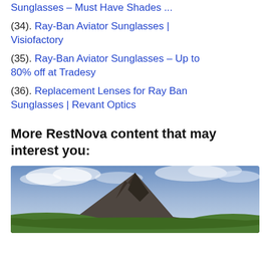Sunglasses – Must Have Shades ...
(34). Ray-Ban Aviator Sunglasses | Visiofactory
(35). Ray-Ban Aviator Sunglasses – Up to 80% off at Tradesy
(36). Replacement Lenses for Ray Ban Sunglasses | Revant Optics
More RestNova content that may interest you:
[Figure (photo): Landscape photo of a rocky mountain peak with green hills and dramatic cloudy sky]